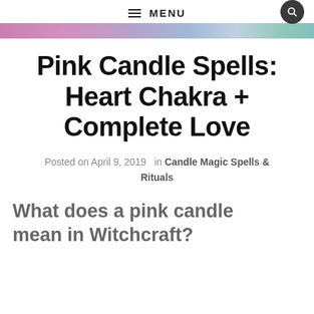MENU
[Figure (photo): Colorful banner image strip with pink, purple, blue, and teal gradient tones]
Pink Candle Spells: Heart Chakra + Complete Love
Posted on April 9, 2019  in Candle Magic Spells & Rituals
What does a pink candle mean in Witchcraft?